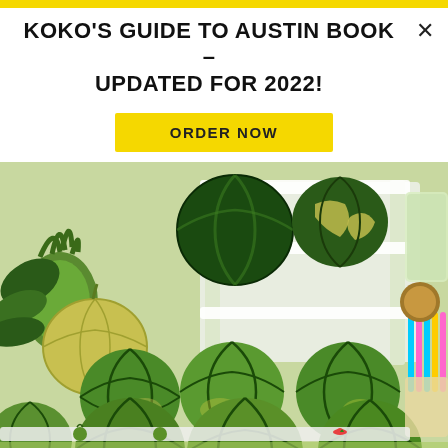KOKO'S GUIDE TO AUSTIN BOOK - UPDATED FOR 2022!
ORDER NOW
[Figure (photo): Display of many whole watermelons arranged on white tiered stands at a market stall, with pineapples and other fruits visible on the left, and colorful straws and other items on the right side.]